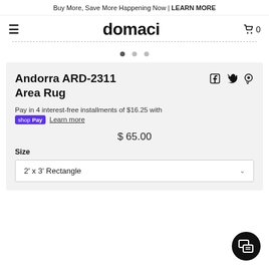Buy More, Save More Happening Now | LEARN MORE
domaci
[Figure (screenshot): Three carousel dots indicating image slider position]
Andorra ARD-2311 Area Rug
Pay in 4 interest-free installments of $16.25 with shop Pay Learn more
$ 65.00
Size
2' x 3' Rectangle